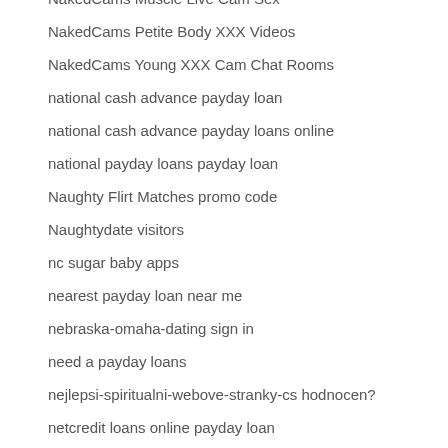NakedCams Muscle Live Cam Sex
NakedCams Petite Body XXX Videos
NakedCams Young XXX Cam Chat Rooms
national cash advance payday loan
national cash advance payday loans online
national payday loans payday loan
Naughty Flirt Matches promo code
Naughtydate visitors
nc sugar baby apps
nearest payday loan near me
nebraska-omaha-dating sign in
need a payday loans
nejlepsi-spiritualni-webove-stranky-cs hodnocen?
netcredit loans online payday loan
netspend payday loans